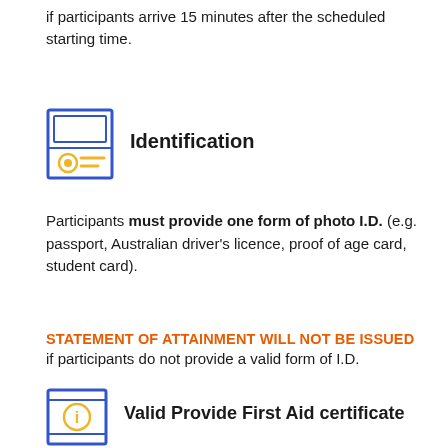if participants arrive 15 minutes after the scheduled starting time.
[Figure (illustration): Blue-bordered ID card icon with yellow photo and lines]
Identification
Participants must provide one form of photo I.D. (e.g. passport, Australian driver's licence, proof of age card, student card).
STATEMENT OF ATTAINMENT WILL NOT BE ISSUED if participants do not provide a valid form of I.D.
[Figure (illustration): Blue-bordered info icon with yellow circle and letter i]
Valid Provide First Aid certificate